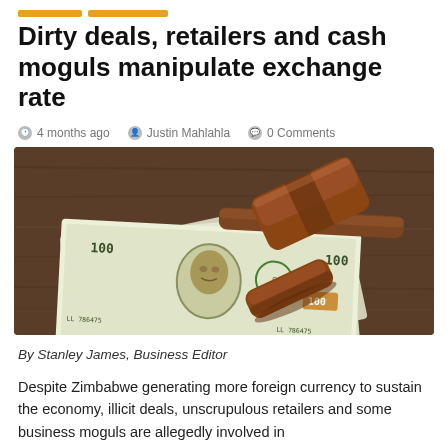Dirty deals, retailers and cash moguls manipulate exchange rate
4 months ago   Justin Mahlahla   0 Comments
[Figure (photo): A wooden judge's gavel resting on a pile of US $100 dollar bills on a wooden surface.]
By Stanley James, Business Editor
Despite Zimbabwe generating more foreign currency to sustain the economy, illicit deals, unscrupulous retailers and some business moguls are allegedly involved in